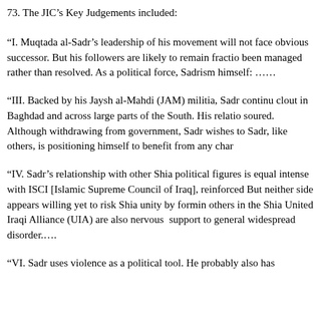73. The JIC's Key Judgements included:
“I. Muqtada al-Sadr’s leadership of his movement will not face obvious successor. But his followers are likely to remain fractio been managed rather than resolved. As a political force, Sadrism himself: ……
“III. Backed by his Jaysh al-Mahdi (JAM) militia, Sadr continu clout in Baghdad and across large parts of the South. His relatio soured. Although withdrawing from government, Sadr wishes to Sadr, like others, is positioning himself to benefit from any char
“IV. Sadr’s relationship with other Shia political figures is equal intense with ISCI [Islamic Supreme Council of Iraq], reinforced But neither side appears willing yet to risk Shia unity by formin others in the Shia United Iraqi Alliance (UIA) are also nervous support to general widespread disorder.….
“VI. Sadr uses violence as a political tool. He probably also has